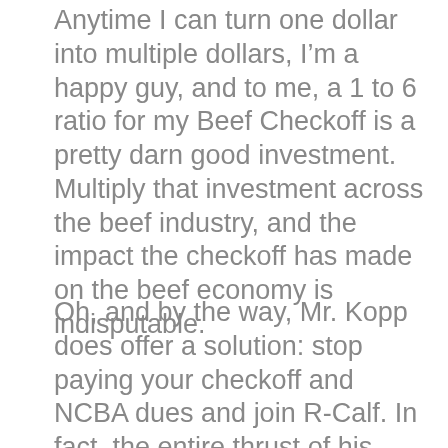Anytime I can turn one dollar into multiple dollars, I'm a happy guy, and to me, a 1 to 6 ratio for my Beef Checkoff is a pretty darn good investment. Multiply that investment across the beef industry, and the impact the checkoff has made on the beef economy is indisputable.
Oh, and by the way, Mr. Kopp does offer a solution: stop paying your checkoff and NCBA dues and join R-Calf. In fact, the entire thrust of his rebuttal is an R-Calf